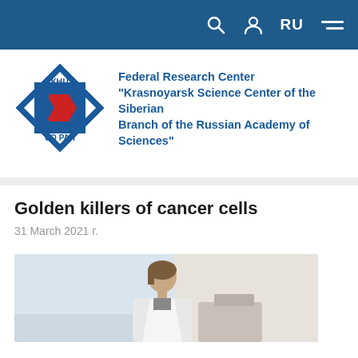RU
[Figure (logo): KHTs SO RAN (Krasnoyarsk Science Center of the Siberian Branch of the Russian Academy of Sciences) logo — diamond shape with blue square and red arrow symbol, text KHU top, CO PAH bottom]
Federal Research Center "Krasnoyarsk Science Center of the Siberian Branch of the Russian Academy of Sciences"
Golden killers of cancer cells
31 March 2021 г.
[Figure (photo): Photograph of a female scientist/researcher, cropped showing upper body, light laboratory background]